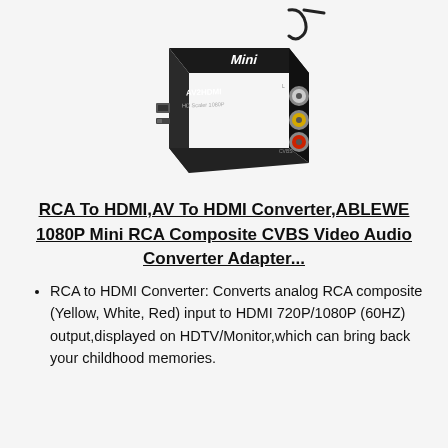[Figure (photo): Product photo of a black mini AV2HDMI converter box with RCA composite connectors (yellow, white, red) on one side and a USB power port on the other, with a cable visible in the upper right.]
RCA To HDMI,AV To HDMI Converter,ABLEWE 1080P Mini RCA Composite CVBS Video Audio Converter Adapter...
RCA to HDMI Converter: Converts analog RCA composite (Yellow, White, Red) input to HDMI 720P/1080P (60HZ) output,displayed on HDTV/Monitor,which can bring back your childhood memories.